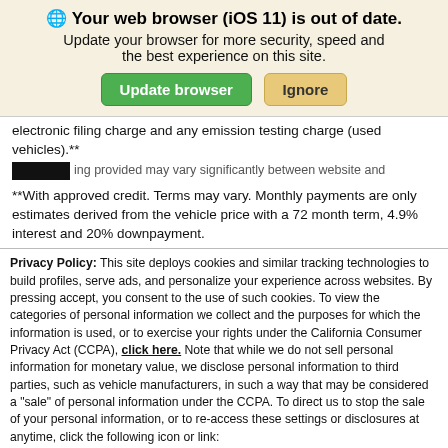[Figure (screenshot): Browser out-of-date warning banner with globe icon, title 'Your web browser (iOS 11) is out of date.', subtitle text, and two buttons: green 'Update browser' and tan 'Ignore']
electronic filing charge and any emission testing charge (used vehicles).**
**With approved credit. Terms may vary. Monthly payments are only estimates derived from the vehicle price with a 72 month term, 4.9% interest and 20% downpayment.
Privacy Policy: This site deploys cookies and similar tracking technologies to build profiles, serve ads, and personalize your experience across websites. By pressing accept, you consent to the use of such cookies. To view the categories of personal information we collect and the purposes for which the information is used, or to exercise your rights under the California Consumer Privacy Act (CCPA), click here. Note that while we do not sell personal information for monetary value, we disclose personal information to third parties, such as vehicle manufacturers, in such a way that may be considered a "sale" of personal information under the CCPA. To direct us to stop the sale of your personal information, or to re-access these settings or disclosures at anytime, click the following icon or link:
Do Not Sell My Personal Information
Language: English    Powered by ComplyAuto
Accept and Continue →   California Privacy Disclosures